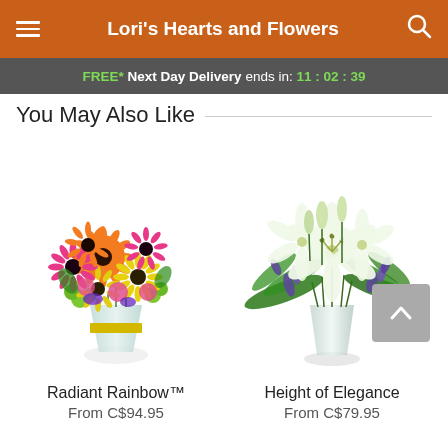Lori's Hearts and Flowers
FREE* Next Day Delivery ends in: 11 : 02 : 39
You May Also Like
[Figure (photo): Colorful mixed flower bouquet with orange, yellow, pink, and purple gerbera daisies, carnations, and greenery in a clear glass vase with gold ribbon - Radiant Rainbow]
Radiant Rainbow™
From C$94.95
[Figure (photo): Elegant arrangement of white lilies and purple accents with lush green foliage in a clear glass vase - Height of Elegance]
Height of Elegance
From C$79.95